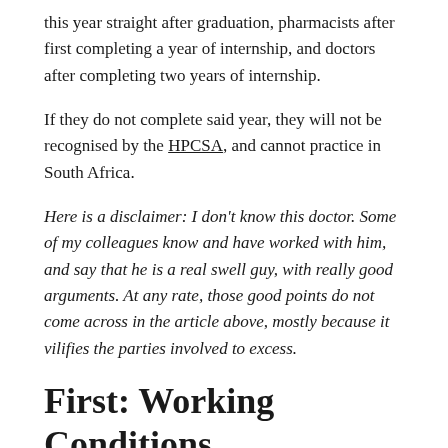this year straight after graduation, pharmacists after first completing a year of internship, and doctors after completing two years of internship.
If they do not complete said year, they will not be recognised by the HPCSA, and cannot practice in South Africa.
Here is a disclaimer: I don't know this doctor. Some of my colleagues know and have worked with him, and say that he is a real swell guy, with really good arguments. At any rate, those good points do not come across in the article above, mostly because it vilifies the parties involved to excess.
First: Working Conditions
This is the part where I think Desroches has a good point,